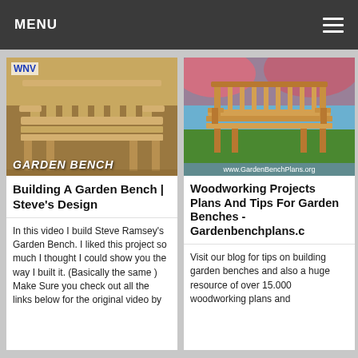MENU
[Figure (photo): Wooden garden bench with back support, text overlay reading GARDEN BENCH, and WTV logo in top left corner]
Building A Garden Bench | Steve's Design
In this video I build Steve Ramsey's Garden Bench. I liked this project so much I thought I could show you the way I built it. (Basically the same ) Make Sure you check out all the links below for the original video by
[Figure (photo): Wooden garden bench with decorative back slats on green grass, URL watermark www.GardenBenchPlans.org at bottom]
Woodworking Projects Plans And Tips For Garden Benches - Gardenbenchplans.c
Visit our blog for tips on building garden benches and also a huge resource of over 15.000 woodworking plans and